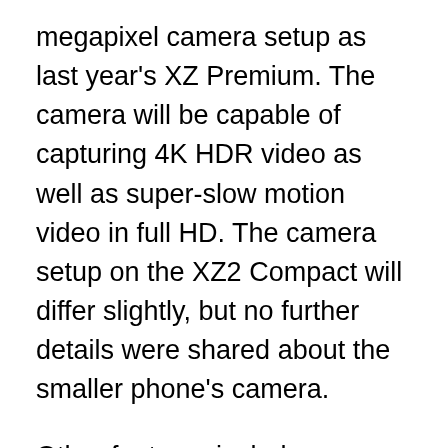megapixel camera setup as last year's XZ Premium. The camera will be capable of capturing 4K HDR video as well as super-slow motion video in full HD. The camera setup on the XZ2 Compact will differ slightly, but no further details were shared about the smaller phone's camera.
Other features include a rear-mounted fingerprint scanner, “S Force” stereo speakers and a haptic feedback system (exclusive to the XZ2). The XZ2 will feature a 3,180 mAh battery that can be charged via USB-C or wirelessly, while the XZ2 Compact, with its 2,870 mAh